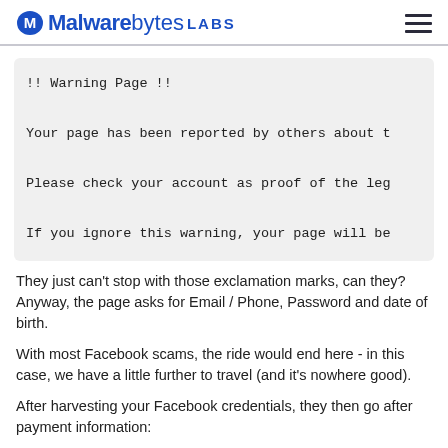Malwarebytes LABS
[Figure (screenshot): Code/text box showing warning page message with monospace font on light gray background. Text reads: '!! Warning Page !!' followed by lines about page being reported, checking account, and ignoring warning consequences.]
They just can't stop with those exclamation marks, can they? Anyway, the page asks for Email / Phone, Password and date of birth.
With most Facebook scams, the ride would end here - in this case, we have a little further to travel (and it's nowhere good).
After harvesting your Facebook credentials, they then go after payment information: